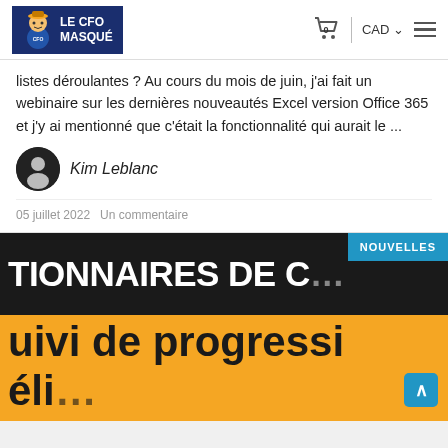Le CFO Masqué — CAD — Navigation
listes déroulantes ? Au cours du mois de juin, j'ai fait un webinaire sur les dernières nouveautés Excel version Office 365 et j'y ai mentionné que c'était la fonctionnalité qui aurait le ...
Kim Leblanc
05 juillet 2022 Un commentaire
[Figure (screenshot): Dark banner showing partial text 'TIONNAIRES DE C' with a blue 'NOUVELLES' badge, followed by an orange banner showing large bold text 'uivi de progressi' and a scroll-up button]